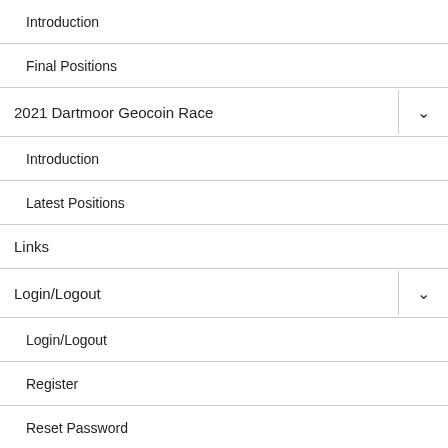Introduction
Final Positions
2021 Dartmoor Geocoin Race
Introduction
Latest Positions
Links
Login/Logout
Login/Logout
Register
Reset Password